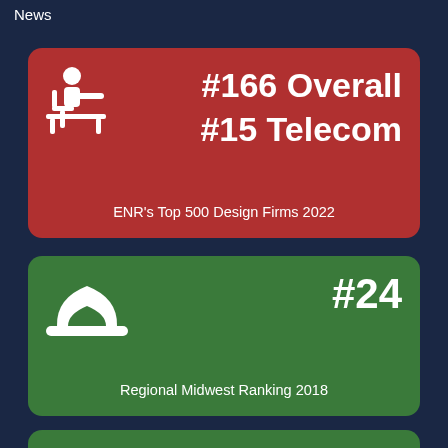News
[Figure (infographic): Red card showing #166 Overall and #15 Telecom rankings from ENR's Top 500 Design Firms 2022, with a desk worker icon]
[Figure (infographic): Green card showing #24 Regional Midwest Ranking 2018, with a hard hat icon]
[Figure (infographic): Green card (partially visible) showing #98 ranking, with a hard hat icon]